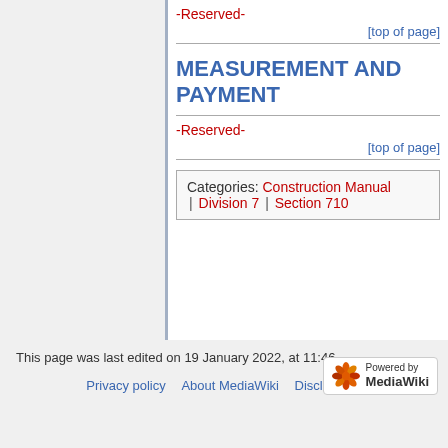-Reserved-
[top of page]
MEASUREMENT AND PAYMENT
-Reserved-
[top of page]
Categories:  Construction Manual | Division 7 | Section 710
This page was last edited on 19 January 2022, at 11:46.
Privacy policy   About MediaWiki   Disclaimers